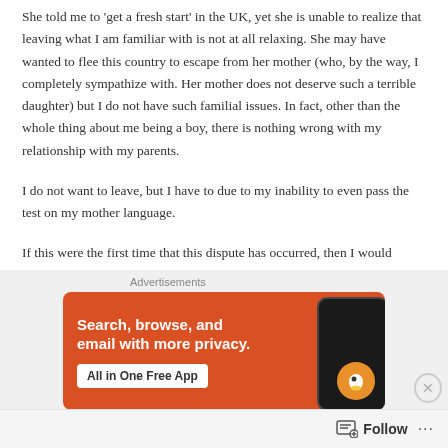She told me to 'get a fresh start' in the UK, yet she is unable to realize that leaving what I am familiar with is not at all relaxing. She may have wanted to flee this country to escape from her mother (who, by the way, I completely sympathize with. Her mother does not deserve such a terrible daughter) but I do not have such familial issues. In fact, other than the whole thing about me being a boy, there is nothing wrong with my relationship with my parents.
I do not want to leave, but I have to due to my inability to even pass the test on my mother language.
If this were the first time that this dispute has occurred, then I would
[Figure (screenshot): DuckDuckGo advertisement banner on orange background with text 'Search, browse, and email with more privacy.' and 'All in One Free App' button, with phone graphic and duck logo]